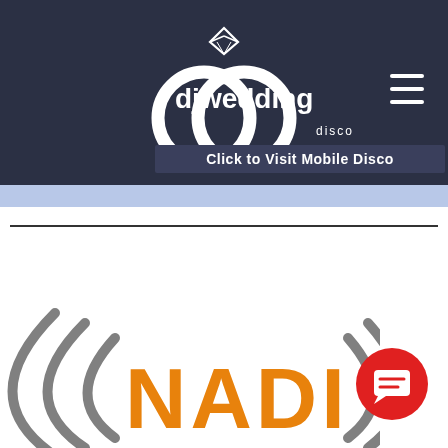[Figure (logo): djwedding disco logo — white interlocked rings with a diamond on top and the text 'djwedding disco' in white on a dark navy background. A subtitle bar reads 'Click to Visit Mobile Disco'. A hamburger menu icon is on the top right.]
[Figure (logo): NADI logo — the word NADI in orange with grey parenthetical wave/signal arcs on each side, partially visible at the bottom of the page.]
[Figure (other): Red circular chat/message button with a white chat icon, positioned bottom right.]